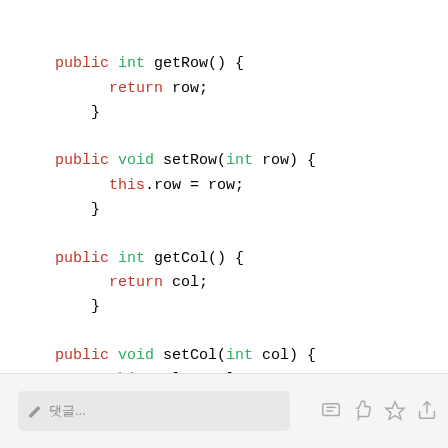public int getRow() {
        return row;
    }

    public void setRow(int row) {
        this.row = row;
    }

    public int getCol() {
        return col;
    }

    public void setCol(int col) {
        this.col = col;
    }
✏ 댓글...